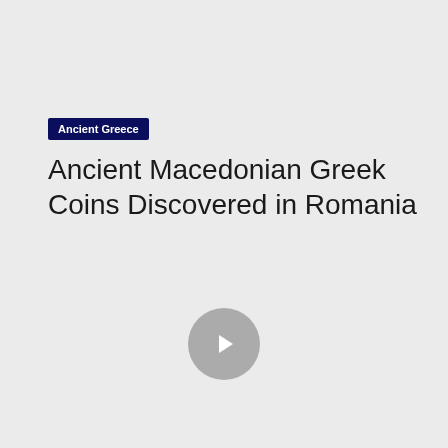Ancient Greece
Ancient Macedonian Greek Coins Discovered in Romania
[Figure (other): Video play button icon — circular grey button with a white triangle play arrow in the center]